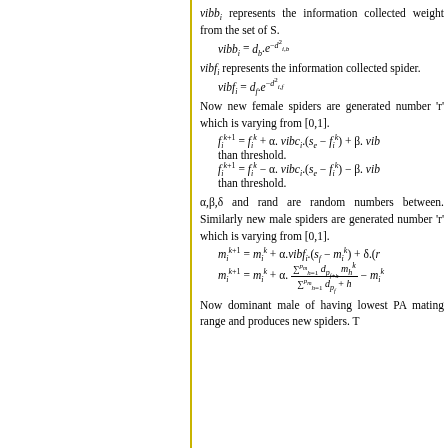vibb_i represents the information collected weight from the set of S.
vibf_i represents the information collected spider.
Now new female spiders are generated number 'r' which is varying from [0,1].
α,β,δ and rand are random numbers between. Similarly new male spiders are generated number 'r' which is varying from [0,1].
Now dominant male of having lowest PA mating range and produces new spiders. T